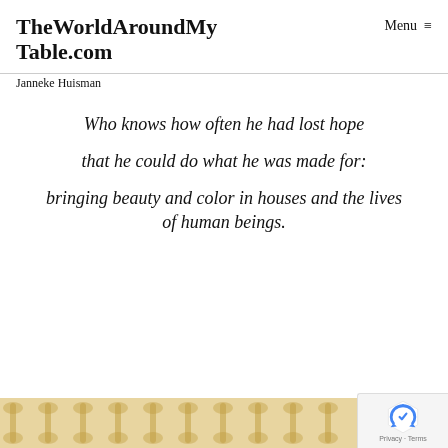TheWorldAroundMyTable.com
Janneke Huisman
Menu ≡
Who knows how often he had lost hope

that he could do what he was made for:

bringing beauty and color in houses and the lives of human beings.
[Figure (photo): Decorative wallpaper or textile with golden ornamental pattern on white background]